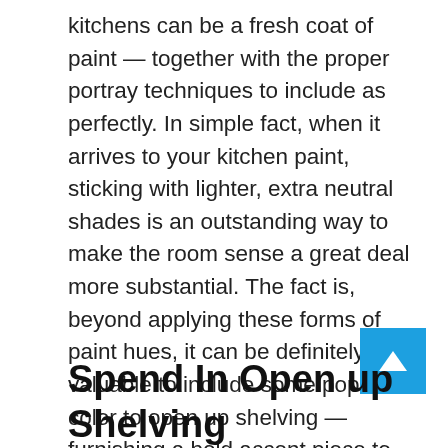kitchens can be a fresh coat of paint — together with the proper portray techniques to include as perfectly. In simple fact, when it arrives to your kitchen paint, sticking with lighter, extra neutral shades is an outstanding way to make the room sense a great deal more substantial. The fact is, beyond applying these forms of paint hues, it can be definitely valuable to include some pops of color to open up shelving — furnishing a bold accent piece to divert peoples' eyes and have the kitchen surface bigger than it essentially is. In the end, by holding the ceiling white and preventing any matte paint, you can really start out to renovate the kitchen when making sure it appears larger than it truly is.
Spend In Open up Shelving